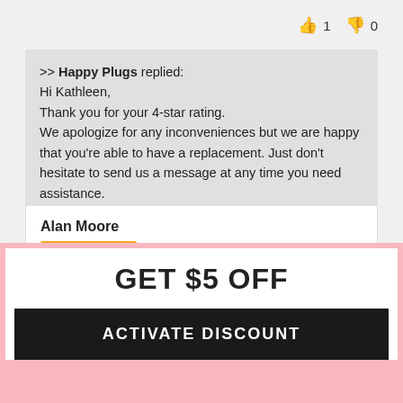👍 1 👎 0
>> Happy Plugs replied:
Hi Kathleen,
Thank you for your 4-star rating.
We apologize for any inconveniences but we are happy that you're able to have a replacement. Just don't hesitate to send us a message at any time you need assistance.
Thank you for your time and wishing you a very nice day.
Alan Moore
Verified Buyer
08/23/2022
★☆☆☆☆
Useless
GET $5 OFF
ACTIVATE DISCOUNT